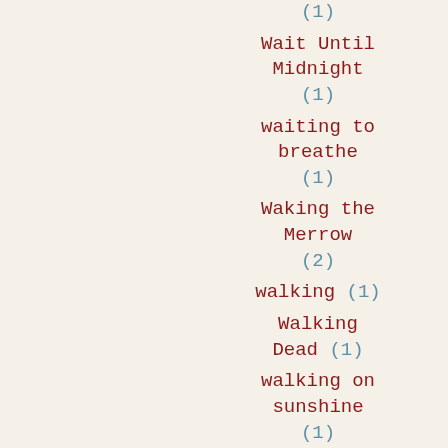(1)
Wait Until Midnight (1)
waiting to breathe (1)
Waking the Merrow (2)
walking (1)
Walking Dead (1)
walking on sunshine (1)
wallflowers (1)